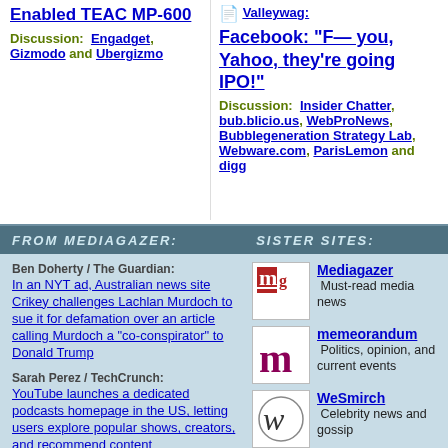Enabled TEAC MP-600
Discussion: Engadget, Gizmodo and Ubergizmo
Valleywag: Facebook: "F— you, Yahoo, they're going IPO!"
Discussion: Insider Chatter, bub.blicio.us, WebProNews, Bubblegeneration Strategy Lab, Webware.com, ParisLemon and digg
FROM MEDIAGAZER:
SISTER SITES:
Ben Doherty / The Guardian: In an NYT ad, Australian news site Crikey challenges Lachlan Murdoch to sue it for defamation over an article calling Murdoch a "co-conspirator" to Donald Trump
Sarah Perez / TechCrunch: YouTube launches a dedicated podcasts homepage in the US, letting users explore popular shows, creators, and recommend content
Lucas Shaw / Bloomberg: Sources: Hasbro, which acquired
Mediagazer — Must-read media news
memeorandum — Politics, opinion, and current events
WeSmirch — Celebrity news and gossip